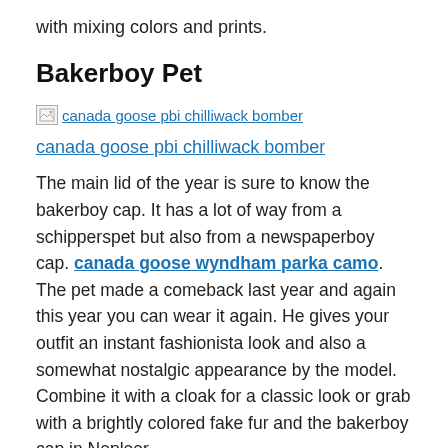with mixing colors and prints.
Bakerboy Pet
[Figure (photo): Broken image placeholder with alt text: canada goose pbi chilliwack bomber]
canada goose pbi chilliwack bomber
The main lid of the year is sure to know the bakerboy cap. It has a lot of way from a schipperspet but also from a newspaperboy cap. canada goose wyndham parka camo. The pet made a comeback last year and again this year you can wear it again. He gives your outfit an instant fashionista look and also a somewhat nostalgic appearance by the model. Combine it with a cloak for a classic look or grab with a brightly colored fake fur and the bakerboy cap in Nepleer.